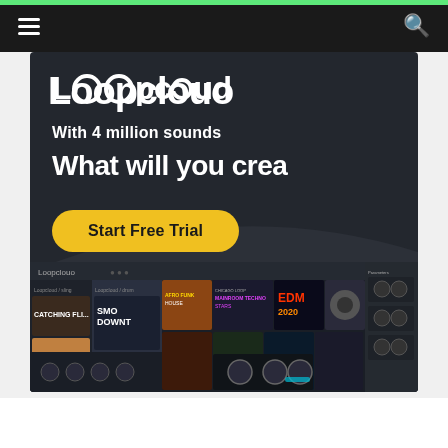Navigation bar with hamburger menu and search icon
[Figure (screenshot): Loopcloud advertisement banner on dark background. Shows 'Loopclouo' logo in white bold text, tagline 'With 4 million sounds', headline 'What will you crea' (truncated), a yellow 'Start Free Trial' button, and a collage of Loopcloud app screenshots at the bottom showing various music sample packs including 'Smooth Downtown', 'Catching Fl...', Chicago Loop, Mainroom Techno Stars, EDM 2020, and plugin interfaces.]